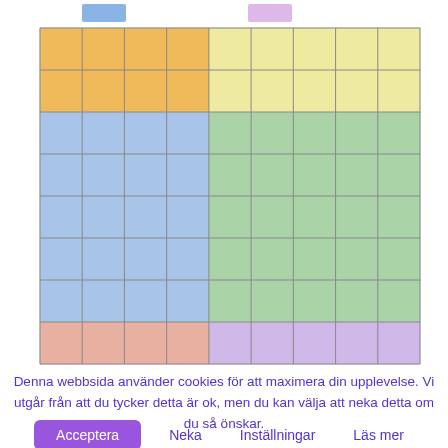[Figure (other): A colored grid with 4 quadrant color regions: top-left orange, top-right yellow, middle-left blue, middle-right green, bottom-left salmon/pink, bottom-right lavender/purple. Two small colored rectangles appear above the grid as a legend (blue and pink).]
Denna webbsida använder cookies för att maximera din upplevelse. Vi utgår från att du tycker detta är ok, men du kan välja att neka detta om du så önskar.
Acceptera   Neka   Inställningar   Läs mer